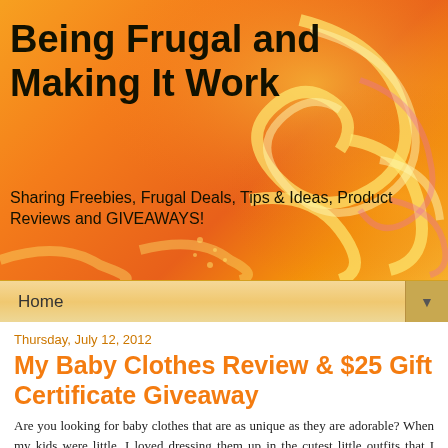Being Frugal and Making It Work
Sharing Freebies, Frugal Deals, Tips & Ideas, Product Reviews and GIVEAWAYS!
Home
Thursday, July 12, 2012
My Baby Clothes Review & $25 Gift Certificate Giveaway
Are you looking for baby clothes that are as unique as they are adorable?  When my kids were little, I loved dressing them up in the cutest little outfits that I could find.  I'll admit that my daughter was more fun to dress up than my son was, so many more darling choices.  Some of my favorites were personalized baby clothes, headbands, sandals and frilly tutus!